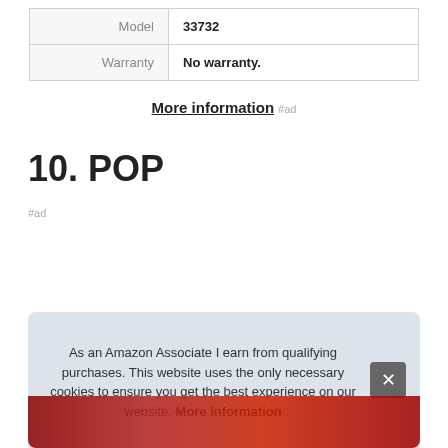| Model | 33732 |
| Warranty | No warranty. |
More information #ad
10. POP
#ad
As an Amazon Associate I earn from qualifying purchases. This website uses the only necessary cookies to ensure you get the best experience on our website. More information